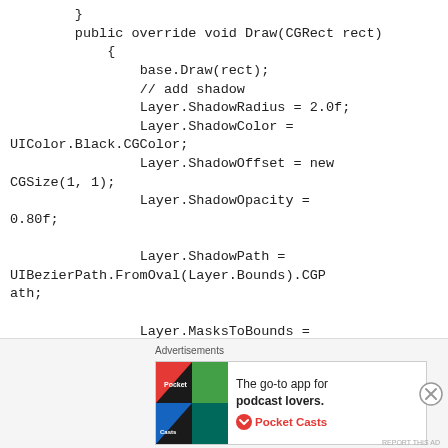}
        public override void Draw(CGRect rect)
            {
                base.Draw(rect);
                // add shadow
                Layer.ShadowRadius = 2.0f;
                Layer.ShadowColor = UIColor.Black.CGColor;
                Layer.ShadowOffset = new CGSize(1, 1);
                Layer.ShadowOpacity = 0.80f;

                Layer.ShadowPath = UIBezierPath.FromOval(Layer.Bounds).CGPath;

                Layer.MasksToBounds = false;

            }
        protected override void
Advertisements
[Figure (other): Advertisement banner for Pocket Casts app: 'The go-to app for podcast lovers.' with Pocket Casts logo]